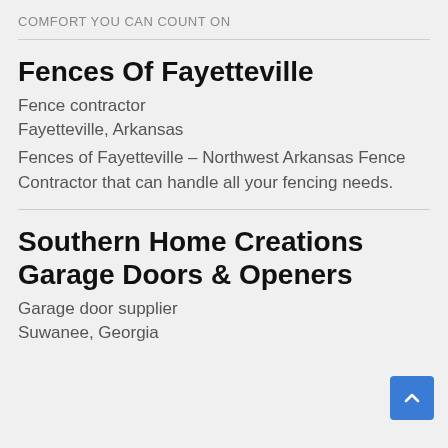COMFORT YOU CAN COUNT ON
Fences Of Fayetteville
Fence contractor
Fayetteville, Arkansas
Fences of Fayetteville – Northwest Arkansas Fence Contractor that can handle all your fencing needs.
Southern Home Creations Garage Doors & Openers
Garage door supplier
Suwanee, Georgia